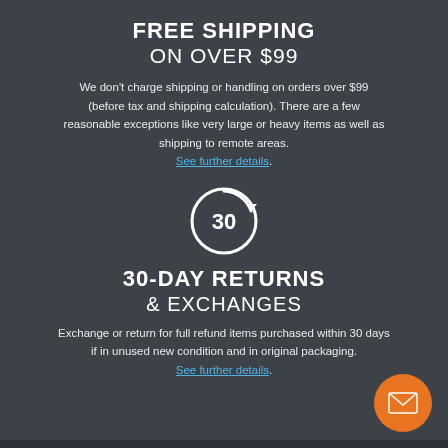FREE SHIPPING
ON OVER $99
We don't charge shipping or handling on orders over $99 (before tax and shipping calculation). There are a few reasonable exceptions like very large or heavy items as well as shipping to remote areas.
See further details.
[Figure (illustration): Circle icon with number 30 and a refresh/return arrow on top, white outline on dark background]
30-DAY RETURNS
& EXCHANGES
Exchange or return for full refund items purchased within 30 days if in unused new condition and in original packaging.
See further details.